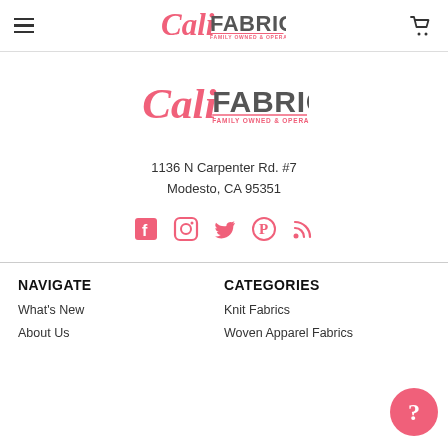Cali Fabrics — Family Owned & Operated Since 2011 [navigation bar with hamburger menu and cart]
[Figure (logo): Cali Fabrics logo — script 'Cali' with bold 'FABRICS' and tagline 'Family Owned & Operated Since 2011']
1136 N Carpenter Rd. #7
Modesto, CA 95351
[Figure (infographic): Social media icons: Facebook, Instagram, Twitter, Pinterest, RSS feed — all in coral/pink color]
NAVIGATE
CATEGORIES
What's New
About Us
Knit Fabrics
Woven Apparel Fabrics